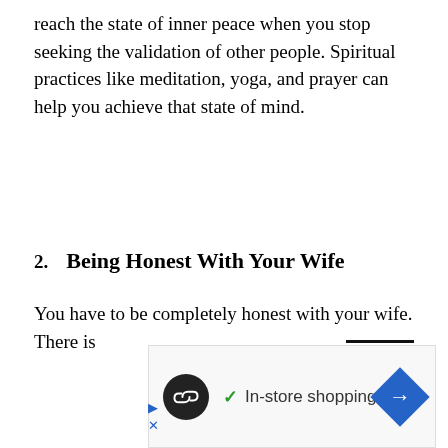reach the state of inner peace when you stop seeking the validation of other people. Spiritual practices like meditation, yoga, and prayer can help you achieve that state of mind.
2. Being Honest With Your Wife
You have to be completely honest with your wife. There is
[Figure (other): Advertisement banner showing a circular black logo with infinity/link icon, a green checkmark with 'In-store shopping' text, and a blue diamond-shaped arrow icon.]